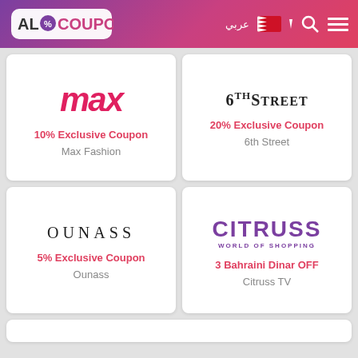[Figure (logo): AlCoupon logo with colorful gradient header including Arabic text عربي, Bahrain flag, search and menu icons]
[Figure (logo): Max fashion logo - red italic bold text 'max']
10% Exclusive Coupon
Max Fashion
[Figure (logo): 6thStreet logo in serif font]
20% Exclusive Coupon
6th Street
[Figure (logo): OUNASS logo in spaced serif font]
5% Exclusive Coupon
Ounass
[Figure (logo): CITRUSS WORLD OF SHOPPING logo in purple]
3 Bahraini Dinar OFF
Citruss TV